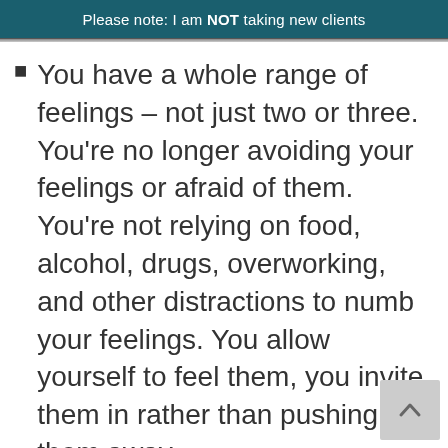Please note: I am NOT taking new clients
You have a whole range of feelings – not just two or three. You're no longer avoiding your feelings or afraid of them. You're not relying on food, alcohol, drugs, overworking, and other distractions to numb your feelings. You allow yourself to feel them, you invite them in rather than pushing them away.